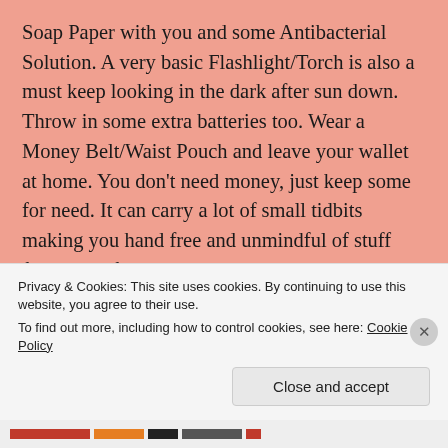Soap Paper with you and some Antibacterial Solution. A very basic Flashlight/Torch is also a must keep looking in the dark after sun down. Throw in some extra batteries too. Wear a Money Belt/Waist Pouch and leave your wallet at home. You don't need money, just keep some for need. It can carry a lot of small tidbits making you hand free and unmindful of stuff falling out from pockets. Then comes the less important stuff like a change of clothes, a sweater if it gets cold, a pair of sunglasses to shield your eyes, a Hat to avoid heatstroke. When wearing the clothes for such journey or packing them make sure they are covering you from neck to wrists and from waist to ankles, so there is minimal chance of insect bites. Denim
Privacy & Cookies: This site uses cookies. By continuing to use this website, you agree to their use.
To find out more, including how to control cookies, see here: Cookie Policy
Close and accept